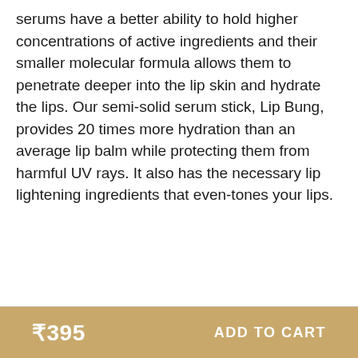serums have a better ability to hold higher concentrations of active ingredients and their smaller molecular formula allows them to penetrate deeper into the lip skin and hydrate the lips. Our semi-solid serum stick, Lip Bung, provides 20 times more hydration than an average lip balm while protecting them from harmful UV rays. It also has the necessary lip lightening ingredients that even-tones your lips.
₹395   ADD TO CART